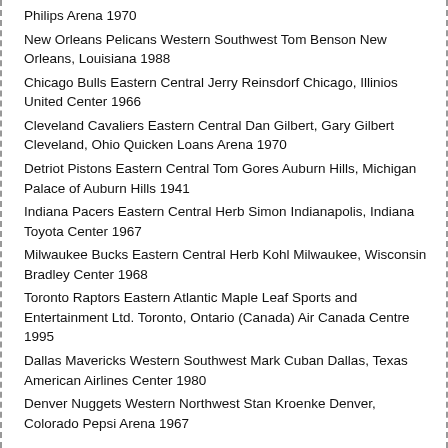Philips Arena 1970
New Orleans Pelicans Western Southwest Tom Benson New Orleans, Louisiana 1988
Chicago Bulls Eastern Central Jerry Reinsdorf Chicago, Illinios United Center 1966
Cleveland Cavaliers Eastern Central Dan Gilbert, Gary Gilbert Cleveland, Ohio Quicken Loans Arena 1970
Detriot Pistons Eastern Central Tom Gores Auburn Hills, Michigan Palace of Auburn Hills 1941
Indiana Pacers Eastern Central Herb Simon Indianapolis, Indiana Toyota Center 1967
Milwaukee Bucks Eastern Central Herb Kohl Milwaukee, Wisconsin Bradley Center 1968
Toronto Raptors Eastern Atlantic Maple Leaf Sports and Entertainment Ltd. Toronto, Ontario (Canada) Air Canada Centre 1995
Dallas Mavericks Western Southwest Mark Cuban Dallas, Texas American Airlines Center 1980
Denver Nuggets Western Northwest Stan Kroenke Denver, Colorado Pepsi Arena 1967